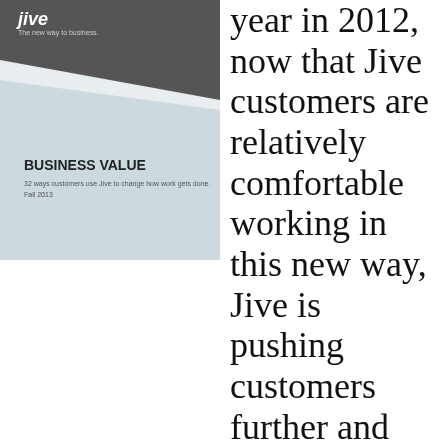[Figure (illustration): Jive Business Value book cover with logo at top, dark gray triangular shape, light blue area below with bold text 'BUSINESS VALUE' and subtitle '32 ways customers use Jive to change how work gets done. Fall 2013']
year in 2012, now that Jive customers are relatively comfortable working in this new way, Jive is pushing customers further and helping them discover the business value buried in their organization that can be extracted.  It’s kind of like fracking in the bedrock of the enterprise for stored value.  Chris Morace, Jive Chief Strategy Officer, calls it finding the “money laying around” in your organization when you